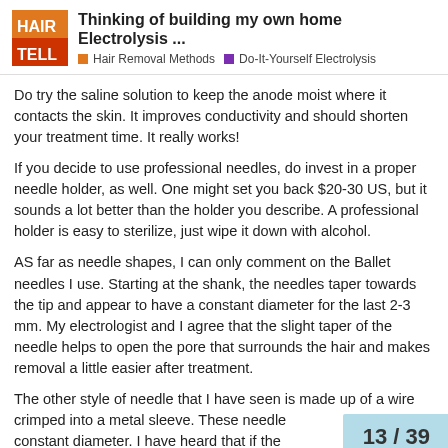Thinking of building my own home Electrolysis … | Hair Removal Methods > Do-It-Yourself Electrolysis
Do try the saline solution to keep the anode moist where it contacts the skin. It improves conductivity and should shorten your treatment time. It really works!
If you decide to use professional needles, do invest in a proper needle holder, as well. One might set you back $20-30 US, but it sounds a lot better than the holder you describe. A professional holder is easy to sterilize, just wipe it down with alcohol.
AS far as needle shapes, I can only comment on the Ballet needles I use. Starting at the shank, the needles taper towards the tip and appear to have a constant diameter for the last 2-3 mm. My electrologist and I agree that the slight taper of the needle helps to open the pore that surrounds the hair and makes removal a little easier after treatment.
The other style of needle that I have seen is made up of a wire crimped into a metal sleeve. These needle constant diameter. I have heard that if the
13 / 39